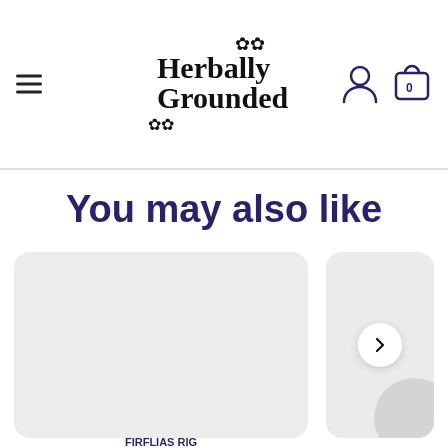Herbally Grounded
You may also like
[Figure (illustration): Two product image placeholder cards side by side. Left card is a large light grey rounded rectangle. Right card is a partially visible smaller light grey rounded rectangle with a circular arrow navigation button on the left side.]